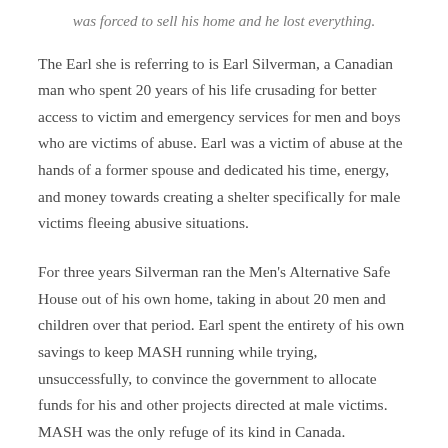was forced to sell his home and he lost everything.
The Earl she is referring to is Earl Silverman, a Canadian man who spent 20 years of his life crusading for better access to victim and emergency services for men and boys who are victims of abuse. Earl was a victim of abuse at the hands of a former spouse and dedicated his time, energy, and money towards creating a shelter specifically for male victims fleeing abusive situations.
For three years Silverman ran the Men's Alternative Safe House out of his own home, taking in about 20 men and children over that period. Earl spent the entirety of his own savings to keep MASH running while trying, unsuccessfully, to convince the government to allocate funds for his and other projects directed at male victims. MASH was the only refuge of its kind in Canada.